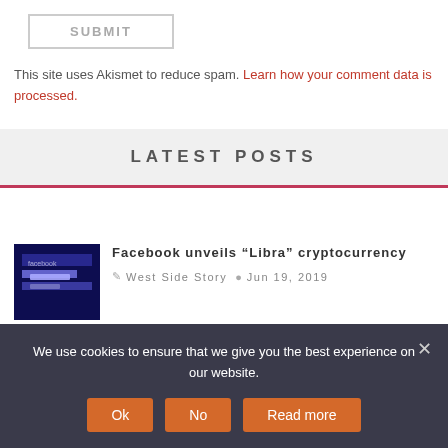SUBMIT
This site uses Akismet to reduce spam. Learn how your comment data is processed.
LATEST POSTS
Facebook unveils “Libra” cryptocurrency
West Side Story  Jun 19, 2019
We use cookies to ensure that we give you the best experience on our website.